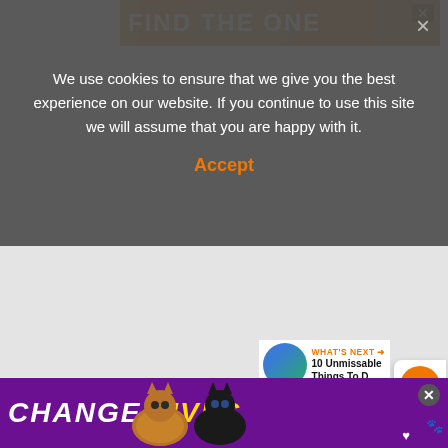We use cookies to ensure that we give you the best experience on our website. If you continue to use this site we will assume that you are happy with it.
Accept
[Figure (screenshot): Gray advertisement/image area visible behind cookie overlay]
539
WHAT'S NEXT → 10 Unmissable Things To D...
Pebble Beach has hosted the US Open on occasions, the last being in 2019 when Gary Woodland won his first major. With a backdrop of the place is
[Figure (infographic): Bottom advertisement banner: purple background with cats silhouette, text CHANGE LIVES in white and yellow with italic styling, close X button, heart icon]